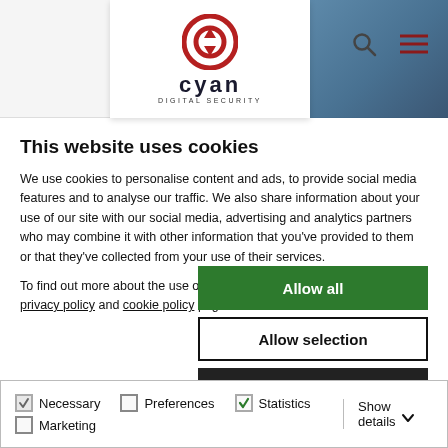[Figure (logo): Cyan Digital Security logo with red circular icon and text 'cyan DIGITAL SECURITY']
This website uses cookies
We use cookies to personalise content and ads, to provide social media features and to analyse our traffic. We also share information about your use of our site with our social media, advertising and analytics partners who may combine it with other information that you've provided to them or that they've collected from your use of their services.
To find out more about the use of cookies on our website, read our privacy policy and cookie policy pages.